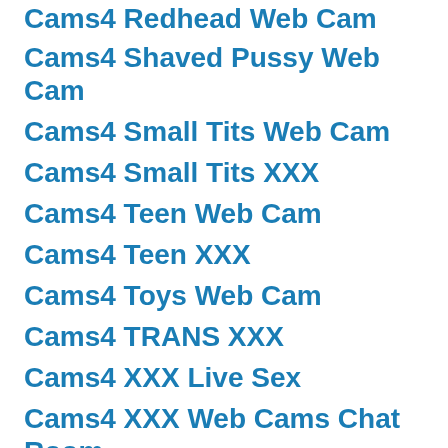Cams4 Redhead Web Cam
Cams4 Shaved Pussy Web Cam
Cams4 Small Tits Web Cam
Cams4 Small Tits XXX
Cams4 Teen Web Cam
Cams4 Teen XXX
Cams4 Toys Web Cam
Cams4 TRANS XXX
Cams4 XXX Live Sex
Cams4 XXX Web Cams Chat Room
Cams4 Young XXX